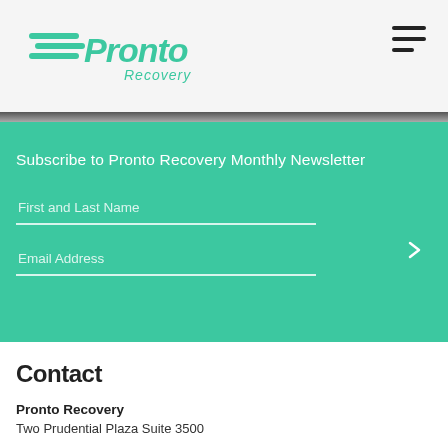Pronto Recovery
Subscribe to Pronto Recovery Monthly Newsletter
First and Last Name
Email Address
Contact
Pronto Recovery
Two Prudential Plaza Suite 3500